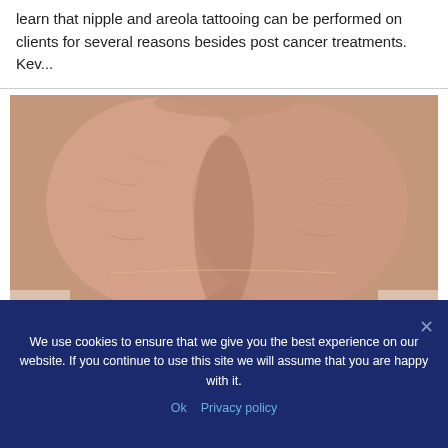learn that nipple and areola tattooing can be performed on clients for several reasons besides post cancer treatments. Kev...
[Figure (photo): Clinical photograph showing reconstructed breasts after mastectomy, frontal view, no nipples visible, skin shows surgical scarring.]
We use cookies to ensure that we give you the best experience on our website. If you continue to use this site we will assume that you are happy with it.
Ok   Privacy policy